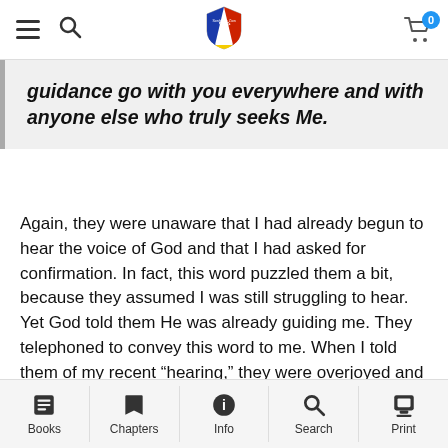Navigation bar with hamburger menu, search, shield logo, and cart
guidance go with you everywhere and with anyone else who truly seeks Me.
Again, they were unaware that I had already begun to hear the voice of God and that I had asked for confirmation. In fact, this word puzzled them a bit, because they assumed I was still struggling to hear. Yet God told them He was already guiding me. They telephoned to convey this word to me. When I told them of my recent “hearing,” they were overjoyed and said, “Oh, now this word makes sense! We thought
Books | Chapters | Info | Search | Print